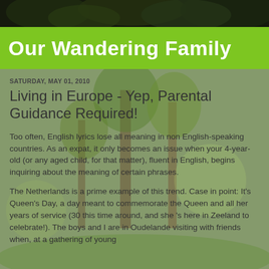[Figure (photo): Forest/nature background photo with trees and green foliage, dark at the top]
Our Wandering Family
SATURDAY, MAY 01, 2010
Living in Europe - Yep, Parental Guidance Required!
Too often, English lyrics lose all meaning in non English-speaking countries. As an expat, it only becomes an issue when your 4-year-old (or any aged child, for that matter), fluent in English, begins inquiring about the meaning of certain phrases.
The Netherlands is a prime example of this trend. Case in point: It's Queen's Day, a day meant to commemorate the Queen and all her years of service (30 this time around, and she 's here in Zeeland to celebrate!). The boys and I are in Oudelande visiting with friends when, at a gathering of young